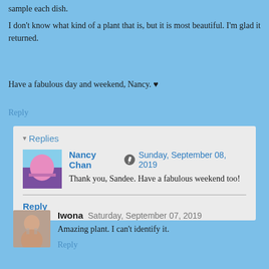sample each dish.
I don't know what kind of a plant that is, but it is most beautiful. I'm glad it returned.
Have a fabulous day and weekend, Nancy. ♥
Reply
Replies
Nancy Chan  Sunday, September 08, 2019
Thank you, Sandee. Have a fabulous weekend too!
Reply
Iwona  Saturday, September 07, 2019
Amazing plant. I can't identify it.
Reply